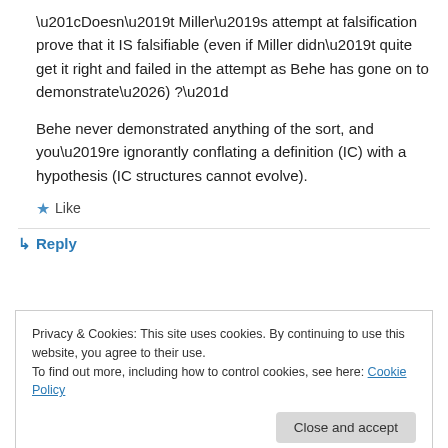“Doesn’t Miller’s attempt at falsification prove that it IS falsifiable (even if Miller didn’t quite get it right and failed in the attempt as Behe has gone on to demonstrate…) ?”
Behe never demonstrated anything of the sort, and you’re ignorantly conflating a definition (IC) with a hypothesis (IC structures cannot evolve).
★ Like
↳ Reply
Privacy & Cookies: This site uses cookies. By continuing to use this website, you agree to their use.
To find out more, including how to control cookies, see here: Cookie Policy
Close and accept